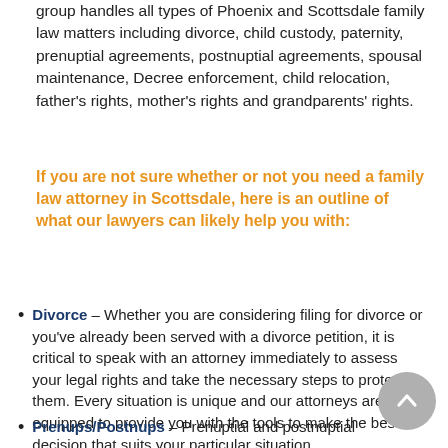group handles all types of Phoenix and Scottsdale family law matters including divorce, child custody, paternity, prenuptial agreements, postnuptial agreements, spousal maintenance, Decree enforcement, child relocation, father's rights, mother's rights and grandparents' rights.
If you are not sure whether or not you need a family law attorney in Scottsdale, here is an outline of what our lawyers can likely help you with:
Divorce – Whether you are considering filing for divorce or you've already been served with a divorce petition, it is critical to speak with an attorney immediately to assess your legal rights and take the necessary steps to protect them. Every situation is unique and our attorneys are well equipped to provide you with the tools to make the best decision that suits your particular situation.
Prenups/Postnups – Prenuptial and postnuptial